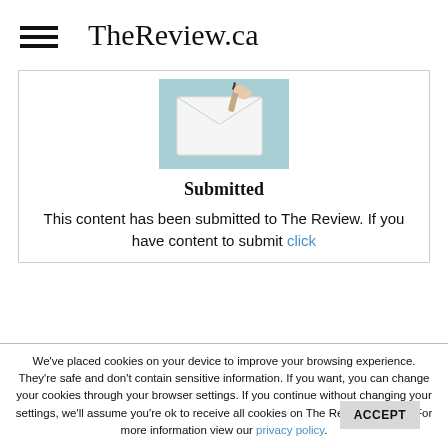TheReview.ca
[Figure (photo): A hand holding a pen writing on a white envelope against a light blue background]
Submitted
This content has been submitted to The Review. If you have content to submit click
We've placed cookies on your device to improve your browsing experience. They're safe and don't contain sensitive information. If you want, you can change your cookies through your browser settings. If you continue without changing your settings, we'll assume you're ok to receive all cookies on The Review website. For more information view our privacy policy.
ACCEPT